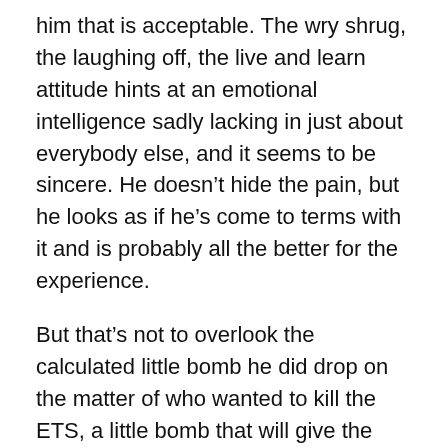him that is acceptable. The wry shrug, the laughing off, the live and learn attitude hints at an emotional intelligence sadly lacking in just about everybody else, and it seems to be sincere. He doesn't hide the pain, but he looks as if he's come to terms with it and is probably all the better for the experience.
But that's not to overlook the calculated little bomb he did drop on the matter of who wanted to kill the ETS, a little bomb that will give the Opposition plenty of return ammunition for a while as they take every opportunity to point out that these would-be-killers are still there, and what does that mean, and who are they, and how can we trust anyone in that government?
Kev does make Gillard look both bad and boring, and that's an unacceptable combination. If you're going to be